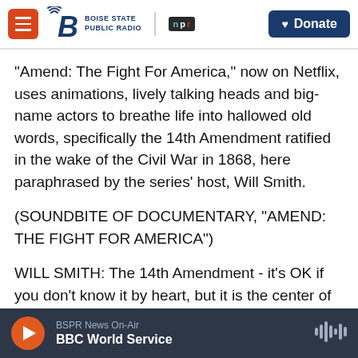Boise State Public Radio | NPR | Donate
"Amend: The Fight For America," now on Netflix, uses animations, lively talking heads and big-name actors to breathe life into hallowed old words, specifically the 14th Amendment ratified in the wake of the Civil War in 1868, here paraphrased by the series' host, Will Smith.
(SOUNDBITE OF DOCUMENTARY, "AMEND: THE FIGHT FOR AMERICA")
WILL SMITH: The 14th Amendment - it's OK if you don't know it by heart, but it is the center of the promise of America. And it goes something like
BSPR News On-Air
BBC World Service